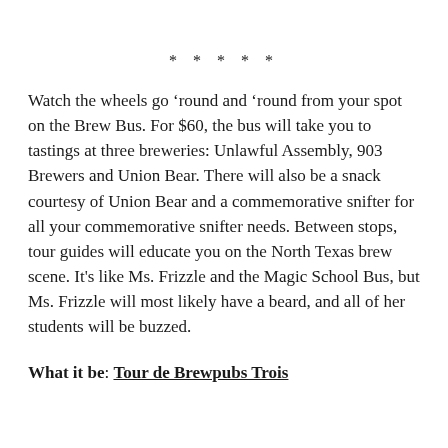* * * * *
Watch the wheels go ‘round and ‘round from your spot on the Brew Bus. For $60, the bus will take you to tastings at three breweries: Unlawful Assembly, 903 Brewers and Union Bear. There will also be a snack courtesy of Union Bear and a commemorative snifter for all your commemorative snifter needs. Between stops, tour guides will educate you on the North Texas brew scene. It’s like Ms. Frizzle and the Magic School Bus, but Ms. Frizzle will most likely have a beard, and all of her students will be buzzed.
What it be: Tour de Brewpubs Trois